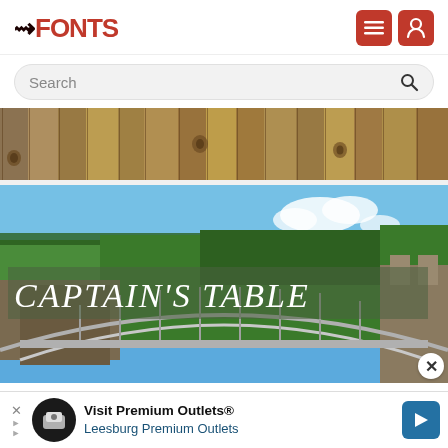FFONTS — navigation header with menu and user icons
Search
[Figure (photo): Wooden plank texture banner image showing weathered grey and brown vertical wood planks with knots]
[Figure (photo): Bridge over a gorge with lush green trees and blue sky, overlaid with text reading CAPTAIN'S TABLE in decorative serif font on a semi-transparent green background]
Visit Premium Outlets®
Leesburg Premium Outlets
Advertisement banner: Visit Premium Outlets® — Leesburg Premium Outlets